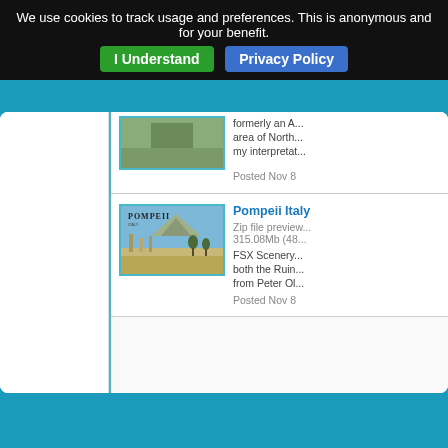We use cookies to track usage and preferences. This is anonymous and for your benefit. | I Understand | Privacy Policy
formerly an A... area of North... my interpretat...
Posted Nov 8
Pompeii Italy
Zip file preview... 315.08Mb (48...
FSX Scenery... both the Ruin... from Peter Ol...
Posted Nov 8